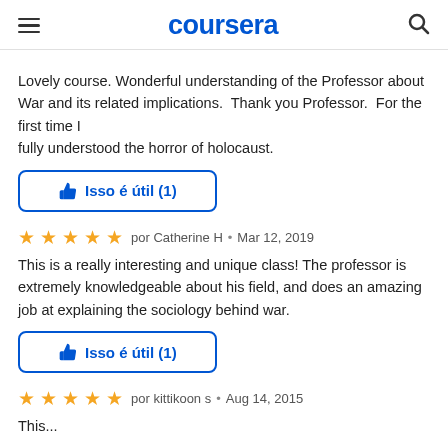coursera
Lovely course. Wonderful understanding of the Professor about War and its related implications.  Thank you Professor. For the first time I fully understood the horror of holocaust.
Isso é útil (1)
por Catherine H  •  Mar 12, 2019
This is a really interesting and unique class! The professor is extremely knowledgeable about his field, and does an amazing job at explaining the sociology behind war.
Isso é útil (1)
por kittikoon s  •  Aug 14, 2015
This...